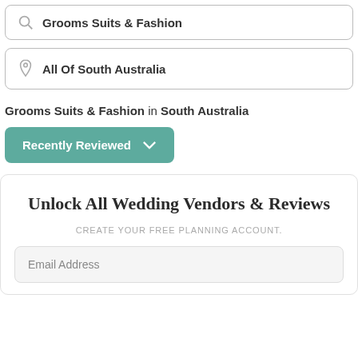Grooms Suits & Fashion
All Of South Australia
Grooms Suits & Fashion in South Australia
Recently Reviewed
Unlock All Wedding Vendors & Reviews
CREATE YOUR FREE PLANNING ACCOUNT.
Email Address